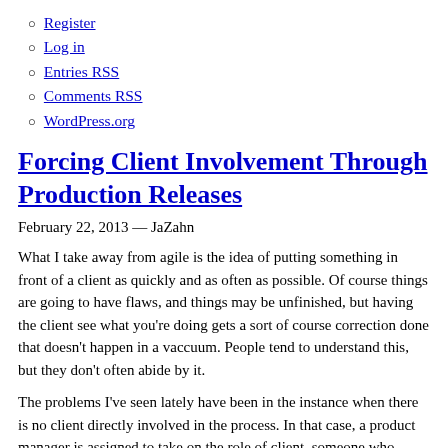Register
Log in
Entries RSS
Comments RSS
WordPress.org
Forcing Client Involvement Through Production Releases
February 22, 2013 — JaZahn
What I take away from agile is the idea of putting something in front of a client as quickly and as often as possible. Of course things are going to have flaws, and things may be unfinished, but having the client see what you're doing gets a sort of course correction done that doesn't happen in a vaccuum. People tend to understand this, but they don't often abide by it.
The problems I've seen lately have been in the instance when there is no client directly involved in the process. In that case, a product manager is assigned to take on the role of client, someone who mostly understands what the client wants and basically be their advocate. But the product manager, being an employee and not a